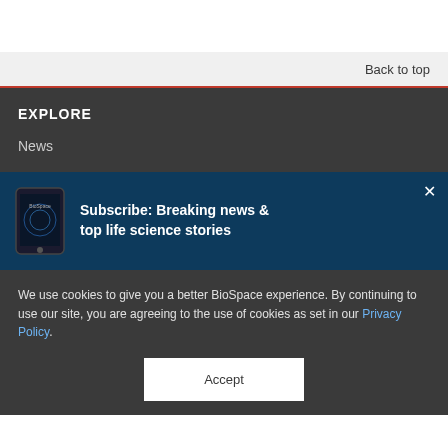Back to top
EXPLORE
News
[Figure (screenshot): Subscribe banner with phone image showing BioSpace app and text: Subscribe: Breaking news & top life science stories, with a close X button]
We use cookies to give you a better BioSpace experience. By continuing to use our site, you are agreeing to the use of cookies as set in our Privacy Policy.
Accept